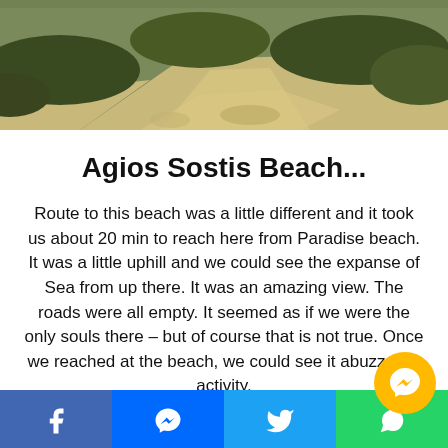[Figure (photo): Aerial or elevated view of a sandy/rocky path through scrubby green-brown vegetation, beach landscape]
Agios Sostis Beach...
Route to this beach was a little different and it took us about 20 min to reach here from Paradise beach. It was a little uphill and we could see the expanse of Sea from up there. It was an amazing view. The roads were all empty. It seemed as if we were the only souls there – but of course that is not true. Once we reached at the beach, we could see it abuzz with activity.
[Figure (infographic): Social share bar at bottom with Facebook, Messenger, Twitter, WhatsApp buttons, and a floating Messenger chat bubble]